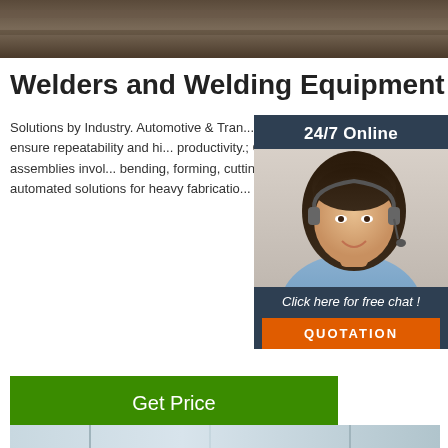[Figure (photo): Top photo of welding/metal work environment, dark tones]
Welders and Welding Equipment
Solutions by Industry. Automotive & Transportation. High speed, low spatter and controlled heat input solutions that ensure repeatability and high operator productivity.; General Fabrication Fabrication of metal components and assemblies involving bending, forming, cutting and welding.; Heavy Fabrication High deposition manual and automated solutions for heavy fabrication equipment and ...
[Figure (photo): 24/7 Online chat widget showing a customer service representative with headset. Includes 'Click here for free chat!' text and QUOTATION button.]
[Figure (photo): Get Price green button]
[Figure (photo): Bottom photo of industrial fabrication facility interior]